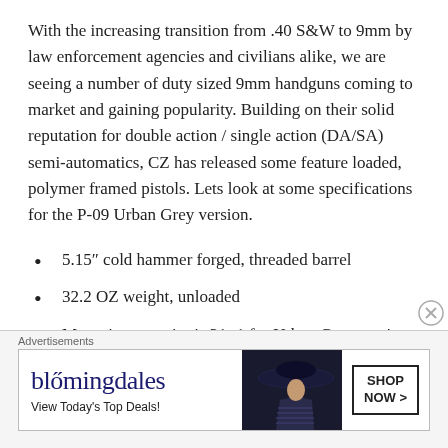With the increasing transition from .40 S&W to 9mm by law enforcement agencies and civilians alike, we are seeing a number of duty sized 9mm handguns coming to market and gaining popularity. Building on their solid reputation for double action / single action (DA/SA) semi-automatics, CZ has released some feature loaded, polymer framed pistols. Lets look at some specifications for the P-09 Urban Grey version.
5.15″ cold hammer forged, threaded barrel
32.2 OZ weight, unloaded
Magazine capacity is 21+1 for Urban Grey version, 19+1 for standard P-09
[Figure (other): Bloomingdale's advertisement banner with logo, 'View Today's Top Deals!' text, image of woman with large hat, and 'SHOP NOW >' button]